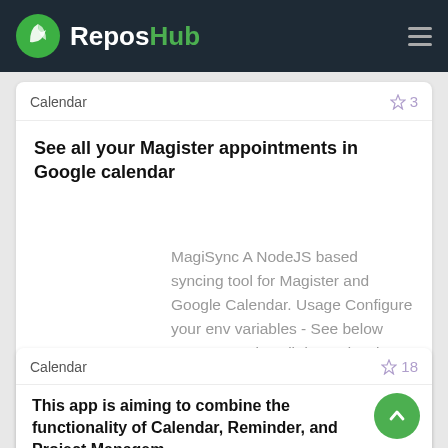ReposHub
Calendar ☆ 3
See all your Magister appointments in Google calendar
MagiSync A NodeJS based syncing tool for Magister and Google Calendar. Usage Configure your env variables - See below Run yarn to install dependencies
Calendar ☆ 18
This app is aiming to combine the functionality of Calendar, Reminder, and Project Managem...